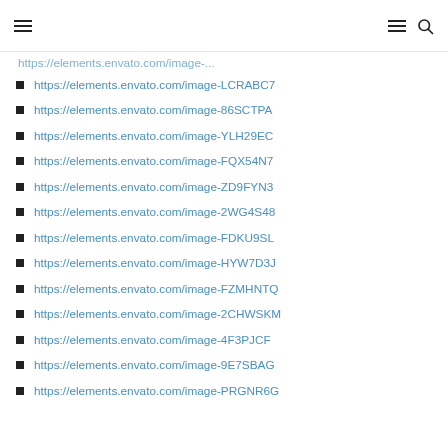navigation header with hamburger menu and search icon
https://elements.envato.com/image-LCRABC7
https://elements.envato.com/image-86SCTPA
https://elements.envato.com/image-YLH29EC
https://elements.envato.com/image-FQX54N7
https://elements.envato.com/image-ZD9FYN3
https://elements.envato.com/image-2WG4S48
https://elements.envato.com/image-FDKU9SL
https://elements.envato.com/image-HYW7D3J
https://elements.envato.com/image-FZMHNTQ
https://elements.envato.com/image-2CHWSKM
https://elements.envato.com/image-4F3PJCF
https://elements.envato.com/image-9E7SBAG
https://elements.envato.com/image-PRGNR6G